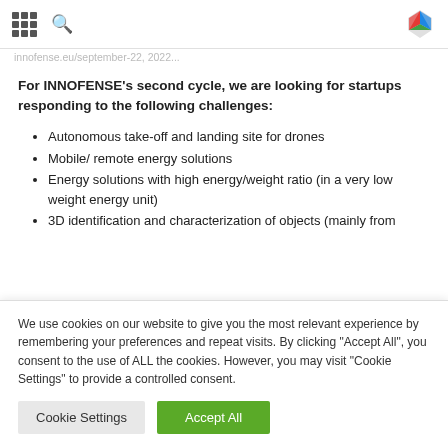Navigation bar with grid icon, search icon, and colorful logo
INNOFENSE's second cycle, we are looking for startups responding to the following challenges:
Autonomous take-off and landing site for drones
Mobile/ remote energy solutions
Energy solutions with high energy/weight ratio (in a very low weight energy unit)
3D identification and characterization of objects (mainly from
We use cookies on our website to give you the most relevant experience by remembering your preferences and repeat visits. By clicking "Accept All", you consent to the use of ALL the cookies. However, you may visit "Cookie Settings" to provide a controlled consent.